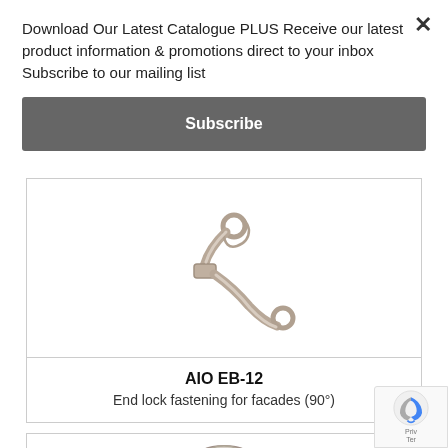Download Our Latest Catalogue PLUS Receive our latest product information & promotions direct to your inbox Subscribe to our mailing list
Subscribe
[Figure (photo): Metal end lock fastening bracket with S-shaped curve, used for facade applications at 90 degree angle]
AIO EB-12
End lock fastening for facades (90°)
[Figure (photo): Partial view of another metal fastening product at bottom of page]